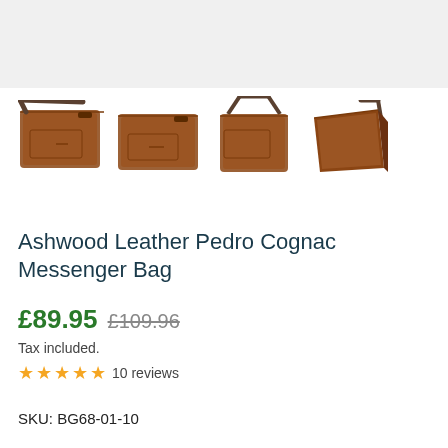[Figure (photo): Four product photos of a brown leather messenger bag shown from different angles: front with strap visible, front flat, top hanging view, and side angle view]
Ashwood Leather Pedro Cognac Messenger Bag
£89.95 £109.96
Tax included.
★★★★★ 10 reviews
SKU: BG68-01-10